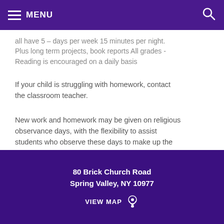MENU
all have 5 – 10 days per week 15 minutes per night. Plus long term projects, book reports All grades - Reading is encouraged on a daily basis
If your child is struggling with homework, contact the classroom teacher.
New work and homework may be given on religious observance days, with the flexibility to assist students who observe these days to make up the work.
80 Brick Church Road Spring Valley, NY 10977 VIEW MAP